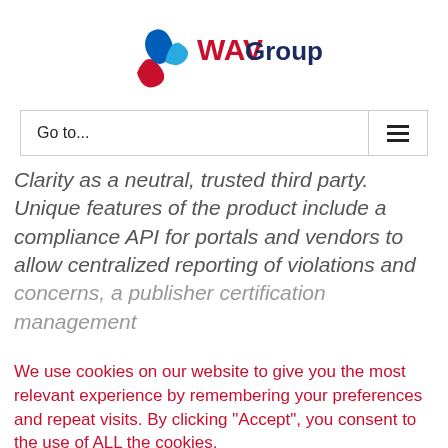[Figure (logo): WAV Group logo with stylized blue and red ribbon/wave mark and 'WAV Group' text in dark blue and red]
Go to...
Clarity as a neutral, trusted third party. Unique features of the product include a compliance API for portals and vendors to allow centralized reporting of violations and concerns, a publisher certification management
We use cookies on our website to give you the most relevant experience by remembering your preferences and repeat visits. By clicking “Accept”, you consent to the use of ALL the cookies.
Do not sell my personal information.